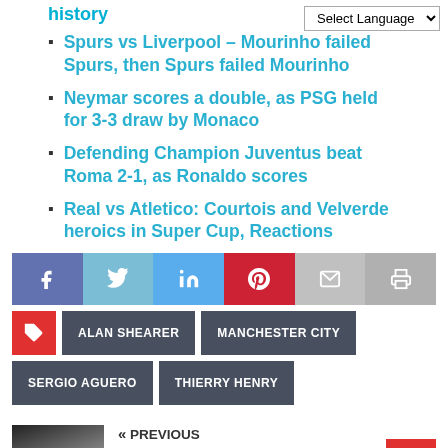history
Spurs vs Liverpool – Mourinho failed Spurs, then Spurs failed Mourinho
Neymar scores a double, as PSG held for 3-3 draw by Monaco
Defending Champion Juventus beat Roma 2-1, as Ronaldo scores
Real vs Atletico: Courtois and Velverde heroics in Super Cup, Reactions
[Figure (infographic): Social sharing bar with icons: Facebook, Twitter, LinkedIn, Pinterest, Email, Print]
[Figure (infographic): Tag buttons: red tag icon, ALAN SHEARER, MANCHESTER CITY, SERGIO AGUERO, THIERRY HENRY]
« PREVIOUS
Spurs vs Liverpool – Mourinho failed Spurs, then Spurs failed Mourinho